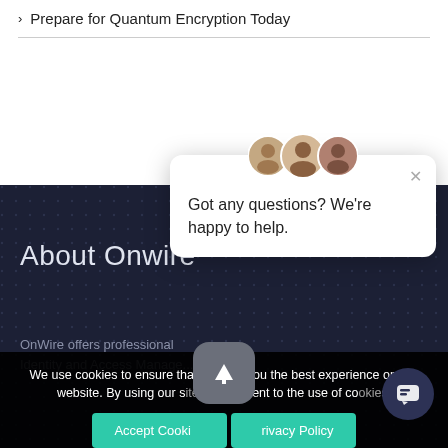> Prepare for Quantum Encryption Today
About Onwire
OnWire offers professional Identity and Access Manage...
[Figure (screenshot): Chat popup with three avatars and message: Got any questions? We're happy to help.]
We use cookies to ensure that we give you the best experience on our website. By using our site you consent to the use of cookies.
[Figure (other): Accept Cookies and Privacy Policy buttons with scroll-to-top and chat bubble UI elements]